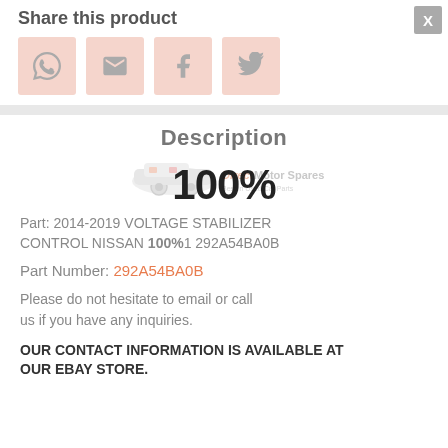Share this product
[Figure (screenshot): Four social share buttons: WhatsApp, Email, Facebook, Twitter — pink/salmon colored square buttons with grey icons]
Description
[Figure (logo): Direct Motor Spares logo with race car illustration, faded/watermarked, with 100% text overlay]
Part: 2014-2019 VOLTAGE STABILIZER CONTROL NISSAN 100% 1 292A54BA0B
Part Number: 292A54BA0B
Please do not hesitate to email or call us if you have any inquiries.
OUR CONTACT INFORMATION IS AVAILABLE AT OUR EBAY STORE.